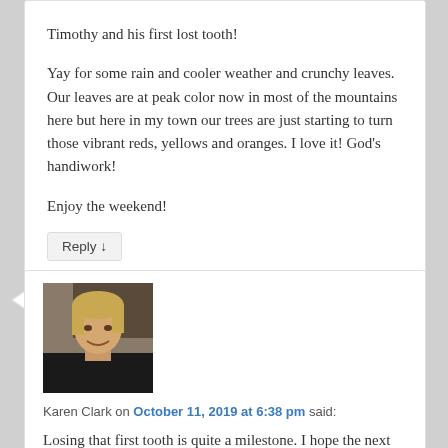Timothy and his first lost tooth!
Yay for some rain and cooler weather and crunchy leaves. Our leaves are at peak color now in most of the mountains here but here in my town our trees are just starting to turn those vibrant reds, yellows and oranges. I love it! God's handiwork!
Enjoy the weekend!
Reply ↓
[Figure (photo): Profile photo of Karen Clark, a woman with blonde hair smiling, wearing a dark jacket]
Karen Clark on October 11, 2019 at 6:38 pm said:
Losing that first tooth is quite a milestone. I hope the next ones are easier for Timothy — and mom and dad:) We had our first snowfall this week, but